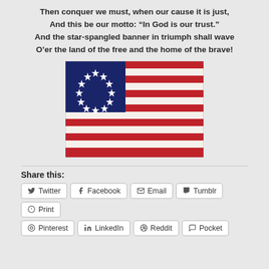Then conquer we must, when our cause it is just,
And this be our motto: “In God is our trust.”
And the star-spangled banner in triumph shall wave
O’er the land of the free and the home of the brave!
[Figure (illustration): Betsy Ross Flag (13 stars in a circle on blue canton, 13 red and white stripes)]
Share this:
Twitter
Facebook
Email
Tumblr
Print
Pinterest
LinkedIn
Reddit
Pocket